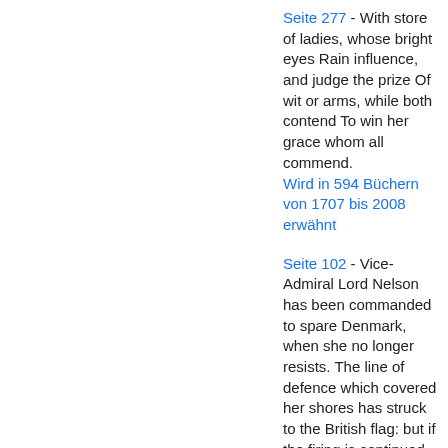Seite 277 - With store of ladies, whose bright eyes Rain influence, and judge the prize Of wit or arms, while both contend To win her grace whom all commend.
Wird in 594 Büchern von 1707 bis 2008 erwähnt
Seite 102 - Vice-Admiral Lord Nelson has been commanded to spare Denmark, when she no longer resists. The line of defence which covered her shores has struck to the British flag: but if the firing is continued on the part of Denmark, he must...
Wird in 165 Büchern von